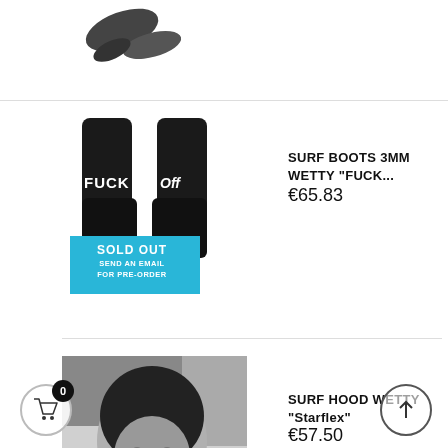[Figure (photo): Partial view of black surf boots/gloves product image at top of page, cropped]
[Figure (photo): Black neoprene surf boots labeled FUCK and Off, with cyan SOLD OUT SEND AN EMAIL FOR PRE-ORDER badge]
SURF BOOTS 3MM WETTY "FUCK...
€65.83
[Figure (photo): Black and white photo of person wearing black neoprene surf hood, with cyan SOLD OUT SEND AN EMAIL FOR PRE-ORDER badge]
SURF HOOD WETTY "Starflex"
€57.50